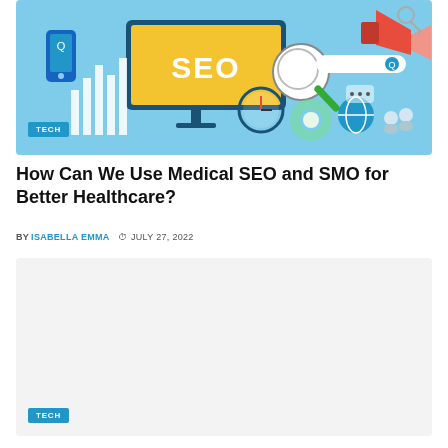[Figure (illustration): SEO themed illustration showing a computer monitor with 'SEO' text on yellow background, a magnifying glass, megaphone, clock, gear, globe, mobile phone, bar chart icons on a light blue background. A 'TECH' badge overlays the bottom-left corner.]
How Can We Use Medical SEO and SMO for Better Healthcare?
BY ISABELLA EMMA   JULY 27, 2022
[Figure (photo): Light gray placeholder rectangle representing a second article card image.]
TECH